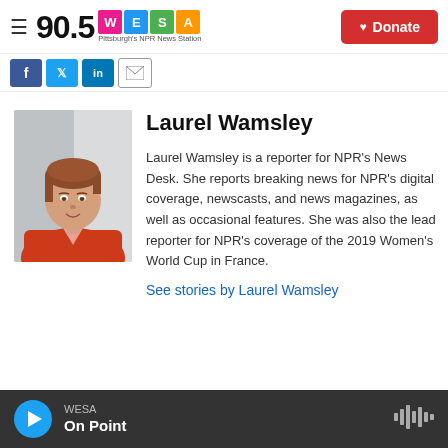90.5 WESA Pittsburgh's NPR News Station | Donate
[Figure (screenshot): Social media sharing icons: Facebook, Twitter, LinkedIn, Email]
[Figure (photo): Profile photo of Laurel Wamsley, a woman with short reddish-brown hair wearing a red/orange top]
Laurel Wamsley
Laurel Wamsley is a reporter for NPR's News Desk. She reports breaking news for NPR's digital coverage, newscasts, and news magazines, as well as occasional features. She was also the lead reporter for NPR's coverage of the 2019 Women's World Cup in France.
See stories by Laurel Wamsley
WESA | On Point